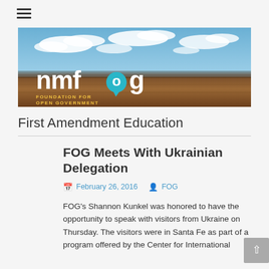[Figure (logo): nmfog New Mexico Foundation for Open Government banner with landscape photo of desert and sky]
First Amendment Education
FOG Meets With Ukrainian Delegation
February 26, 2016   FOG
FOG's Shannon Kunkel was honored to have the opportunity to speak with visitors from Ukraine on Thursday. The visitors were in Santa Fe as part of a program offered by the Center for International